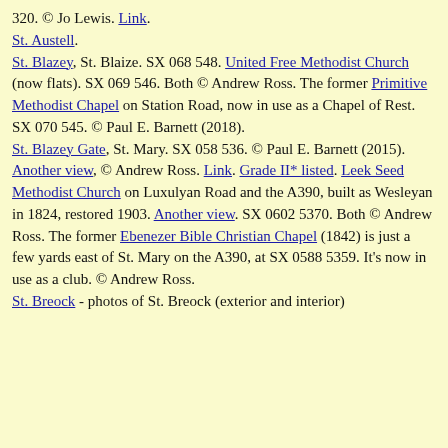320. © Jo Lewis. Link. St. Austell. St. Blazey, St. Blaize. SX 068 548. United Free Methodist Church (now flats). SX 069 546. Both © Andrew Ross. The former Primitive Methodist Chapel on Station Road, now in use as a Chapel of Rest. SX 070 545. © Paul E. Barnett (2018). St. Blazey Gate, St. Mary. SX 058 536. © Paul E. Barnett (2015). Another view, © Andrew Ross. Link. Grade II* listed. Leek Seed Methodist Church on Luxulyan Road and the A390, built as Wesleyan in 1824, restored 1903. Another view. SX 0602 5370. Both © Andrew Ross. The former Ebenezer Bible Christian Chapel (1842) is just a few yards east of St. Mary on the A390, at SX 0588 5359. It's now in use as a club. © Andrew Ross. St. Breock - photos of St. Breock (exterior and interior)